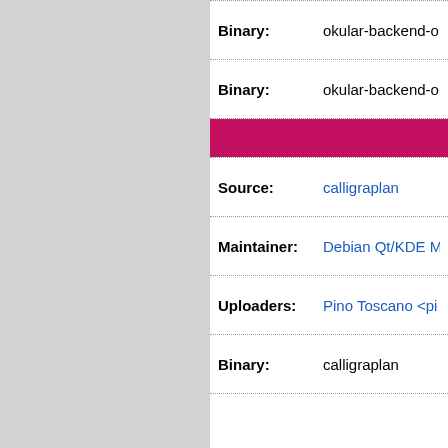| Field | Value |
| --- | --- |
| Binary: | okular-backend-o... |
| Binary: | okular-backend-o... |
| (section header) | calligraplan section |
| Source: | calligraplan |
| Maintainer: | Debian Qt/KDE M... |
| Uploaders: | Pino Toscano <pi... |
| Binary: | calligraplan |
| (section header) | cantor section |
| Source: | cantor |
| Maintainer: | Debian Qt/KDE M... |
| Uploaders: | Pino Toscano <pi... |
| Binary: | cantor |
| Binary: | cantor-backend-k... |